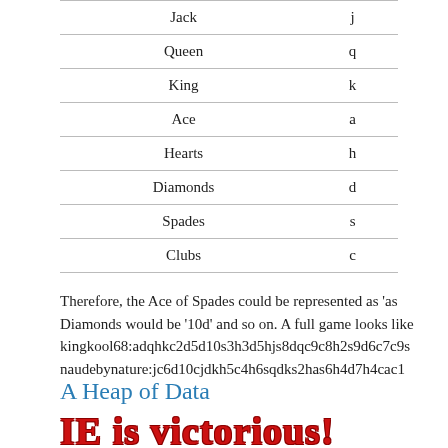| Jack | j |
| Queen | q |
| King | k |
| Ace | a |
| Hearts | h |
| Diamonds | d |
| Spades | s |
| Clubs | c |
Therefore, the Ace of Spades could be represented as 'as', the 10 of Diamonds would be '10d' and so on. A full game looks like: kingkool68:adqhkc2d5d10s3h3d5hjs8dqc9c8h2s9d6c7c9s naudebynature:jc6d10cjdkh5c4h6sqdks2has6h4d7h4cac1
A Heap of Data
[Figure (screenshot): Screenshot showing 'IE is victorious!' in large red bold text, with a 'Share this battle replay with your friends (or enemies)' message and a URL bar showing http://10k.aneventapart.com/Uploads/247/p1-stubbornella:6d3skdjh2cah9h6h8s10cas6c4c8h7h...]